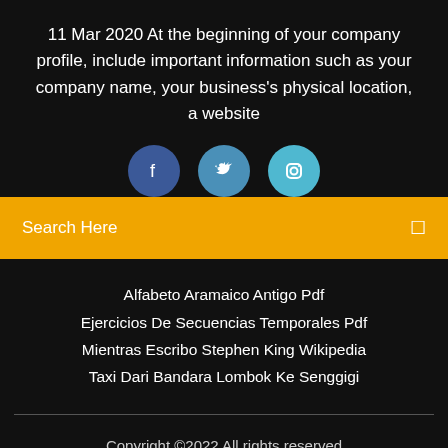11 Mar 2020 At the beginning of your company profile, include important information such as your company name, your business's physical location, a website
[Figure (illustration): Three social media icon buttons: Facebook (dark blue circle), Twitter (medium blue circle), Instagram (light blue circle)]
Search Here
Alfabeto Aramaico Antigo Pdf
Ejercicios De Secuencias Temporales Pdf
Mientras Escribo Stephen King Wikipedia
Taxi Dari Bandara Lombok Ke Senggigi
Copyright ©2022 All rights reserved